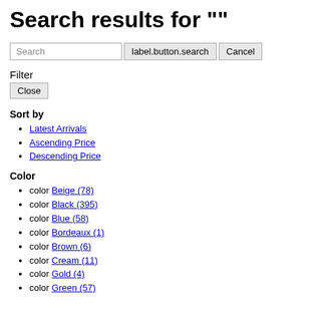Search results for ""
Search | label.button.search | Cancel
Filter
Close
Sort by
Latest Arrivals
Ascending Price
Descending Price
Color
color Beige (78)
color Black (395)
color Blue (58)
color Bordeaux (1)
color Brown (6)
color Cream (11)
color Gold (4)
color Green (57)